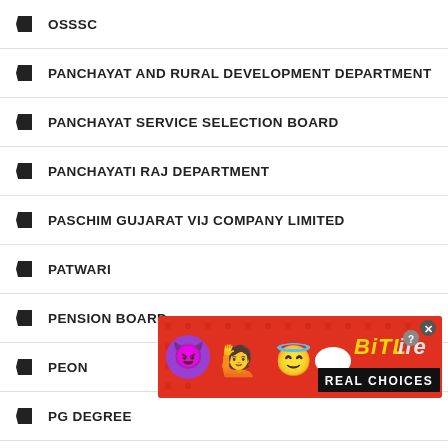OSSSC
PANCHAYAT AND RURAL DEVELOPMENT DEPARTMENT
PANCHAYAT SERVICE SELECTION BOARD
PANCHAYATI RAJ DEPARTMENT
PASCHIM GUJARAT VIJ COMPANY LIMITED
PATWARI
PENSION BOARD
PEON
PG DEGREE
PG DIPLOMA
PG-DIPLOMA
PGCIL
PGT
[Figure (photo): BitLife Real Choices advertisement banner with emoji characters (devil, person with raised hands, angel) on red background]